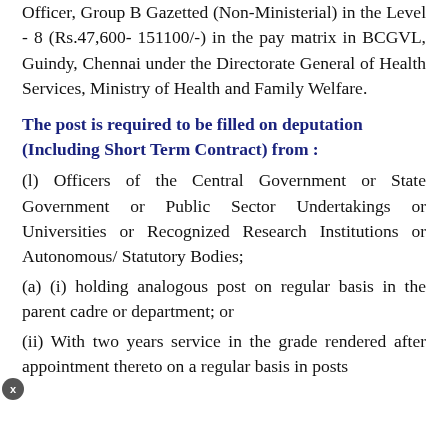Officer, Group B Gazetted (Non-Ministerial) in the Level - 8 (Rs.47,600- 151100/-) in the pay matrix in BCGVL, Guindy, Chennai under the Directorate General of Health Services, Ministry of Health and Family Welfare.
The post is required to be filled on deputation (Including Short Term Contract) from :
(l) Officers of the Central Government or State Government or Public Sector Undertakings or Universities or Recognized Research Institutions or Autonomous/ Statutory Bodies;
(a) (i) holding analogous post on regular basis in the parent cadre or department; or
(ii) With two years service in the grade rendered after appointment thereto on a regular basis in posts